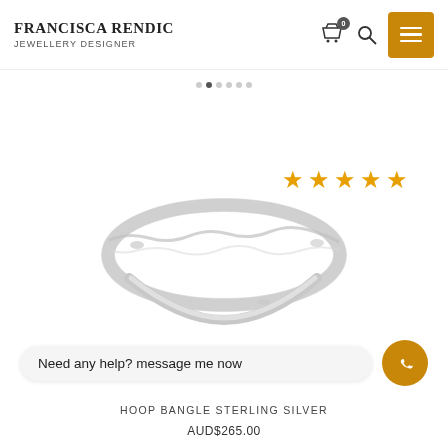FRANCISCA RENDIC JEWELLERY DESIGNER
[Figure (illustration): Five golden star rating icons displayed in a row]
[Figure (photo): A sterling silver hoop bangle ring photographed on white background, showing organic textured surface]
Need any help? message me now
HOOP BANGLE STERLING SILVER
AUD$265.00